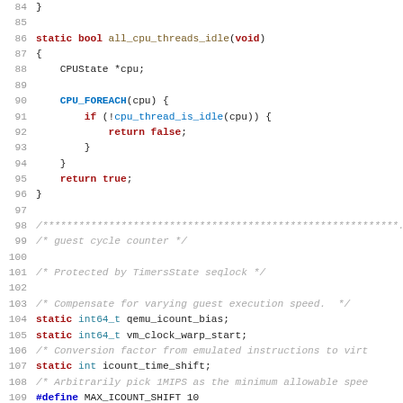[Figure (screenshot): Source code listing in C showing lines 84-115 of a QEMU file. Functions and variable declarations for CPU idle checking and guest cycle counter.]